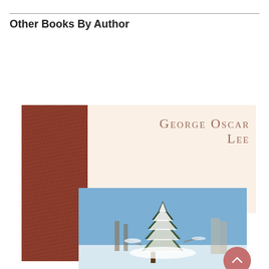Other Books By Author
[Figure (photo): Book cover featuring the name 'George Oscar Lee' on a cream background with a brown leather-textured left panel and a photograph of a snow-covered evergreen tree with blue sky below.]